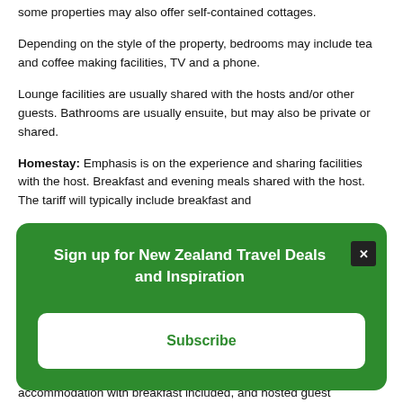some properties may also offer self-contained cottages.
Depending on the style of the property, bedrooms may include tea and coffee making facilities, TV and a phone.
Lounge facilities are usually shared with the hosts and/or other guests. Bathrooms are usually ensuite, but may also be private or shared.
Homestay: Emphasis is on the experience and sharing facilities with the host. Breakfast and evening meals shared with the host. The tariff will typically include breakfast and
[Figure (screenshot): Green modal popup: 'Sign up for New Zealand Travel Deals and Inspiration' with a Subscribe button and a close (X) button]
accommodation with breakfast included, and hosted guest